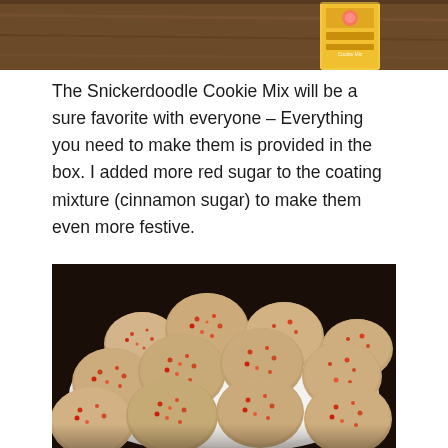[Figure (photo): Top portion of a photo showing a box of Snickerdoodle Cookie Mix on a wooden surface]
The Snickerdoodle Cookie Mix will be a sure favorite with everyone – Everything you need to make them is provided in the box. I added more red sugar to the coating mixture (cinnamon sugar) to make them even more festive.
[Figure (photo): A large pile of snickerdoodle cookies coated with red cinnamon sugar, displayed on a white plate against a dark background]